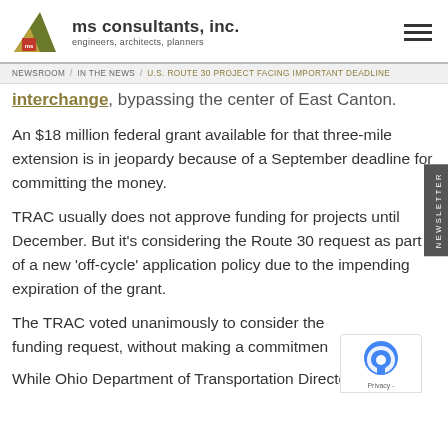ms consultants, inc. engineers, architects, planners
NEWSROOM / IN THE NEWS / U.S. ROUTE 30 PROJECT FACING IMPORTANT DEADLINE
interchange, bypassing the center of East Canton.
An $18 million federal grant available for that three-mile extension is in jeopardy because of a September deadline for committing the money.
TRAC usually does not approve funding for projects until December. But it's considering the Route 30 request as part of a new 'off-cycle' application policy due to the impending expiration of the grant.
The TRAC voted unanimously to consider the funding request, without making a commitment.
While Ohio Department of Transportation Director